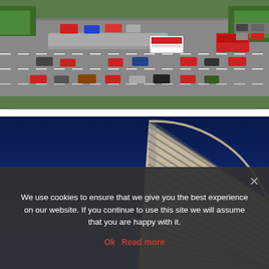[Figure (photo): Aerial view of a busy multi-lane urban road with cars, buses, and trucks, surrounded by green trees on both sides. Vehicles include red double-decker buses and various cars.]
[Figure (photo): Looking up at a modern curved skyscraper building with horizontal ribbed panels against a deep blue sky. The building has a distinctive wave-like architectural form.]
We use cookies to ensure that we give you the best experience on our website. If you continue to use this site we will assume that you are happy with it.
Ok  Read more